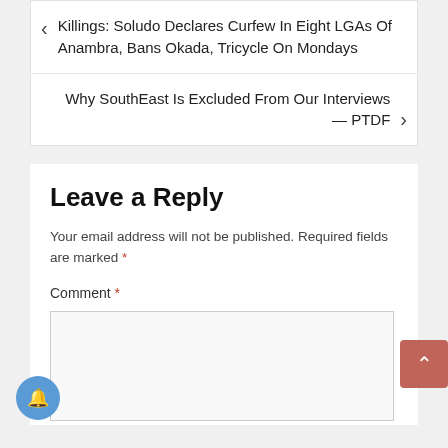Killings: Soludo Declares Curfew In Eight LGAs Of Anambra, Bans Okada, Tricycle On Mondays
Why SouthEast Is Excluded From Our Interviews — PTDF
Leave a Reply
Your email address will not be published. Required fields are marked *
Comment *